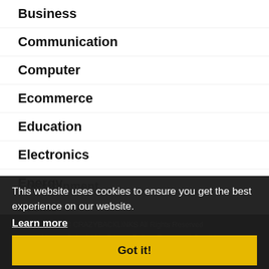Business
Communication
Computer
Ecommerce
Education
Electronics
Energy
Entertainment
Events
This website uses cookies to ensure you get the best experience on our website.
Learn more
Got it!
© CRAZYBACKLINKS All Rights Reserved
Home · Submit Url · Privacy Policy · Terms and Conditions